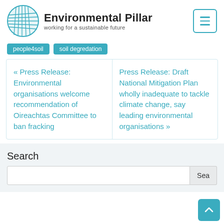[Figure (logo): Environmental Pillar logo — circular globe-like icon with blue teal grid/weave pattern, beside bold text 'Environmental Pillar' and subtitle 'working for a sustainable future']
people4soil
soil degredation
« Press Release: Environmental organisations welcome recommendation of Oireachtas Committee to ban fracking
Press Release: Draft National Mitigation Plan wholly inadequate to tackle climate change, say leading environmental organisations »
Search